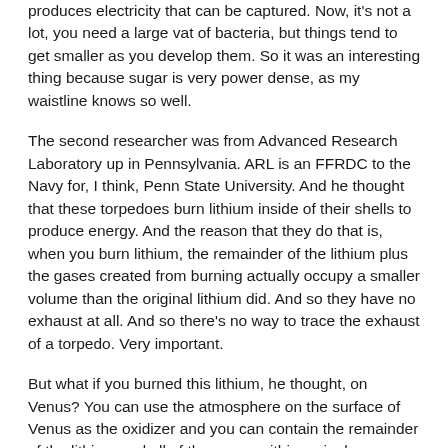produces electricity that can be captured. Now, it's not a lot, you need a large vat of bacteria, but things tend to get smaller as you develop them. So it was an interesting thing because sugar is very power dense, as my waistline knows so well.
The second researcher was from Advanced Research Laboratory up in Pennsylvania. ARL is an FFRDC to the Navy for, I think, Penn State University. And he thought that these torpedoes burn lithium inside of their shells to produce energy. And the reason that they do that is, when you burn lithium, the remainder of the lithium plus the gases created from burning actually occupy a smaller volume than the original lithium did. And so they have no exhaust at all. And so there's no way to trace the exhaust of a torpedo. Very important.
But what if you burned this lithium, he thought, on Venus? You can use the atmosphere on the surface of Venus as the oxidizer and you can contain the remainder of the lithium and all of the gases within a single container, that you could use the original lithium canister because the result of burning it and the gases from burning it are smaller than the original lithium, so you could keep it in the container and you wouldn't contaminate your environment. And it